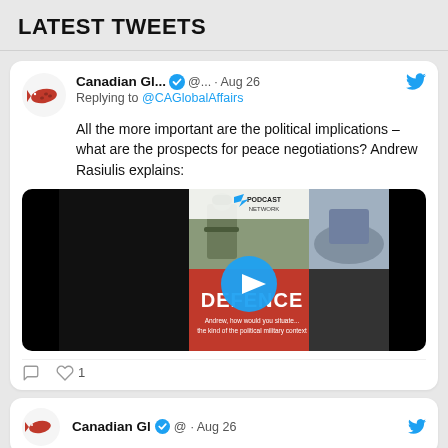LATEST TWEETS
Canadian Gl... ✓ @... · Aug 26
Replying to @CAGlobalAffairs
All the more important are the political implications – what are the prospects for peace negotiations? Andrew Rasiulis explains:
[Figure (screenshot): Video thumbnail showing military imagery with a play button, text reading 'DEFENCE' and 'Andrew, how would you situate... the kind of the political military context']
♡ 1
Canadian Gl ✓ @ · Aug 26